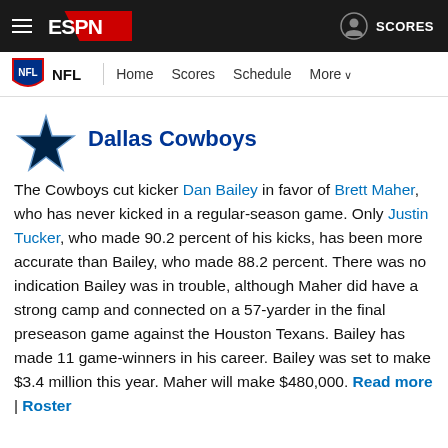ESPN — NFL | Home | Scores | Schedule | More | SCORES
Dallas Cowboys
The Cowboys cut kicker Dan Bailey in favor of Brett Maher, who has never kicked in a regular-season game. Only Justin Tucker, who made 90.2 percent of his kicks, has been more accurate than Bailey, who made 88.2 percent. There was no indication Bailey was in trouble, although Maher did have a strong camp and connected on a 57-yarder in the final preseason game against the Houston Texans. Bailey has made 11 game-winners in his career. Bailey was set to make $3.4 million this year. Maher will make $480,000. Read more | Roster
Denver Broncos